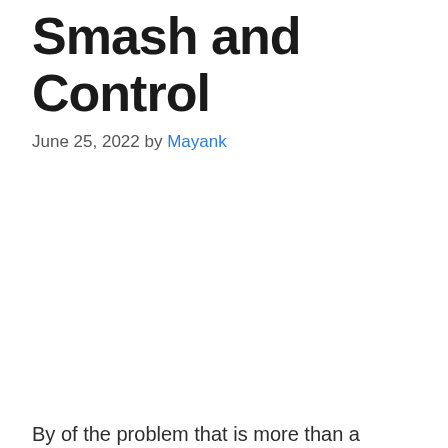Smash and Control
June 25, 2022 by Mayank
By of the problem that is more than a